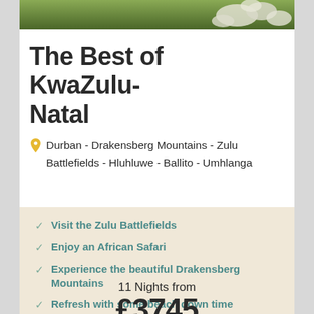[Figure (photo): Partial view of a landscape with green grass and white stones/rocks arranged in a pattern, top strip of image visible]
The Best of KwaZulu-Natal
Durban - Drakensberg Mountains - Zulu Battlefields - Hluhluwe - Ballito - Umhlanga
Visit the Zulu Battlefields
Enjoy an African Safari
Experience the beautiful Drakensberg Mountains
Refresh with some beach down time
11 Nights from
£3745